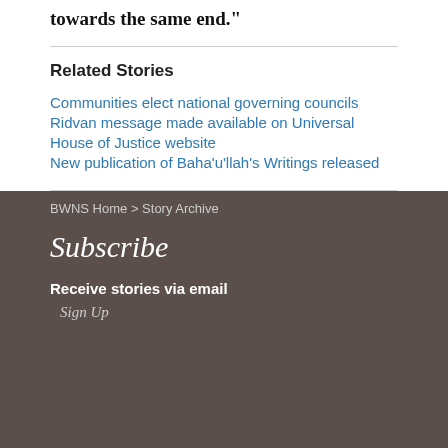towards the same end."
Related Stories
Communities elect national governing councils
Ridvan message made available on Universal House of Justice website
New publication of Baha'u'llah's Writings released
BWNS Home > Story Archive
Subscribe
Receive stories via email
Sign Up